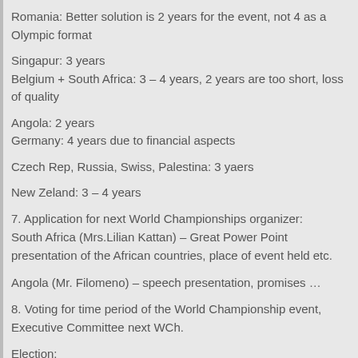Romania: Better solution is 2 years for the event, not 4 as a Olympic format
Singapur: 3 years
Belgium + South Africa: 3 – 4 years, 2 years are too short, loss of quality
Angola: 2 years
Germany: 4 years due to financial aspects
Czech Rep, Russia, Swiss, Palestina: 3 yaers
New Zeland: 3 – 4 years
7. Application for next World Championships organizer:
South Africa (Mrs.Lilian Kattan) – Great Power Point presentation of the African countries, place of event held etc.
Angola (Mr. Filomeno) – speech presentation, promises …
8. Voting for time period of the World Championship event, Executive Committee next WCh.
Election:
| WCh period | EC term | Host country |
| --- | --- | --- |